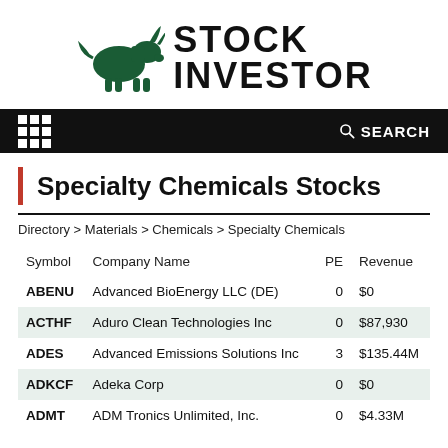[Figure (logo): Stock Investor logo with green bull silhouette and bold black text reading STOCK INVESTOR]
Navigation bar with grid menu icon and SEARCH
Specialty Chemicals Stocks
Directory > Materials > Chemicals > Specialty Chemicals
| Symbol | Company Name | PE | Revenue |
| --- | --- | --- | --- |
| ABENU | Advanced BioEnergy LLC (DE) | 0 | $0 |
| ACTHF | Aduro Clean Technologies Inc | 0 | $87,930 |
| ADES | Advanced Emissions Solutions Inc | 3 | $135.44M |
| ADKCF | Adeka Corp | 0 | $0 |
| ADMT | ADM Tronics Unlimited, Inc. | 0 | $4.33M |